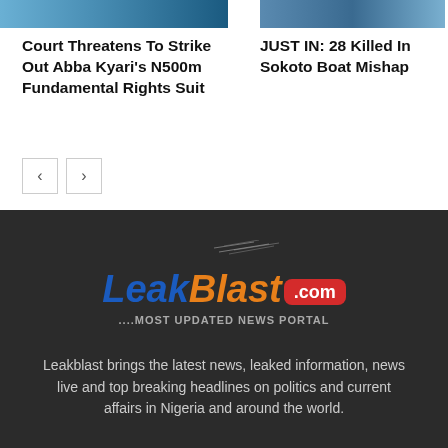[Figure (photo): Partial photo strip at top left, blue/dark tones]
[Figure (photo): Partial photo strip at top right, blue/dark tones]
Court Threatens To Strike Out Abba Kyari’s N500m Fundamental Rights Suit
JUST IN: 28 Killed In Sokoto Boat Mishap
[Figure (logo): LeakBlast.com logo with tagline ....MOST UPDATED NEWS PORTAL]
Leakblast brings the latest news, leaked information, news live and top breaking headlines on politics and current affairs in Nigeria and around the world.